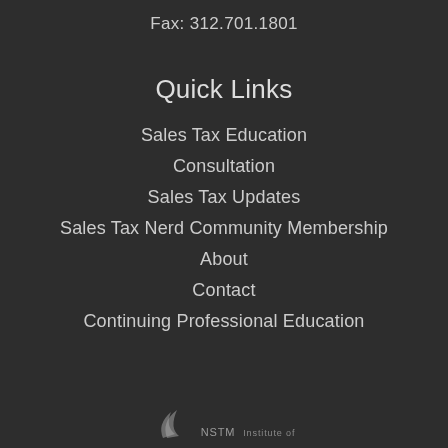Fax: 312.701.1801
Quick Links
Sales Tax Education
Consultation
Sales Tax Updates
Sales Tax Nerd Community Membership
About
Contact
Continuing Professional Education
Institute of...